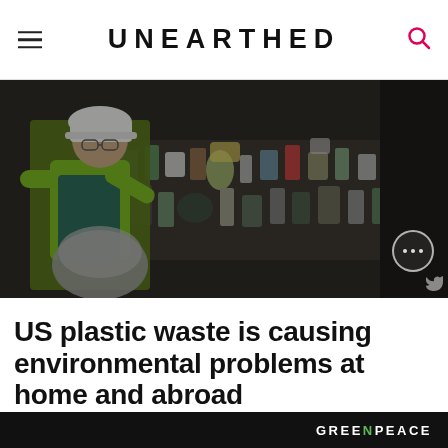UNEARTHED
[Figure (photo): Worker in green high-visibility vest and white hard hat sorting recyclables on a conveyor belt filled with cans, bottles and mixed recyclable waste, in a dim industrial recycling facility.]
US plastic waste is causing environmental problems at home and abroad
GREENPEACE